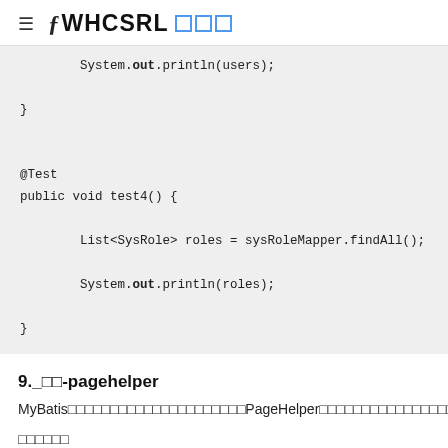≡ ƒ WHCSRL □□□
System.out.println(users);
}

@Test
public void test4() {
    List<SysRole> roles = sysRoleMapper.findAll();
    System.out.println(roles);
}
9._□□-pagehelper
MyBatis□□□□□□□□□□□□□□□□□□□□□□PageHelper□□□□□□□□□□□□□□□□□□□□□□□□□□□□□□□□
□□□□□□
□pom.xml□□□□□□□□